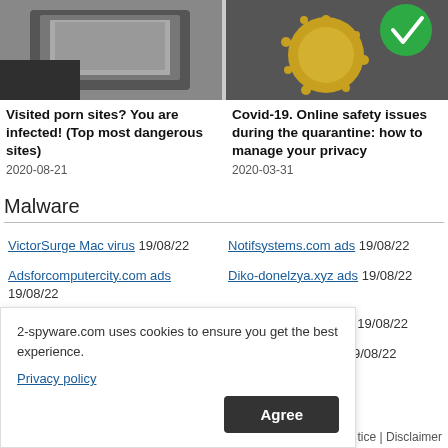[Figure (photo): Article card image - person browsing on laptop]
Visited porn sites? You are infected! (Top most dangerous sites)
2020-08-21
[Figure (photo): Article card image - coronavirus with green checkmark]
Covid-19. Online safety issues during the quarantine: how to manage your privacy
2020-03-31
Malware
VictorSurge Mac virus 19/08/22
Notifsystems.com ads 19/08/22
Adsforcomputercity.com ads 19/08/22
Diko-donelzya.xyz ads 19/08/22
LivingAware mac virus 19/08/22
Protectdevice.org ads 19/08/22
Tickawardon.store ads 19/08/22
News.yokins.cc ads 19/08/22
2-spyware.com uses cookies to ensure you get the best experience.
Privacy policy
Agree
tice | Disclaimer